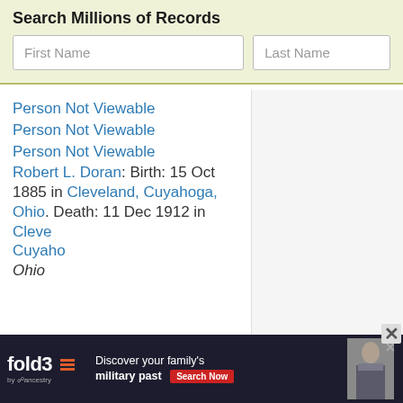Search Millions of Records
First Name
Last Name
Person Not Viewable
Person Not Viewable
Person Not Viewable
Robert L. Doran: Birth: 15 Oct 1885 in Cleveland, Cuyahoga, Ohio. Death: 11 Dec 1912 in Cleve... Cuyaho... Ohio...
[Figure (screenshot): fold3 by Ancestry advertisement banner: 'Discover your family's military past' with Search Now button and Civil War soldier photo]